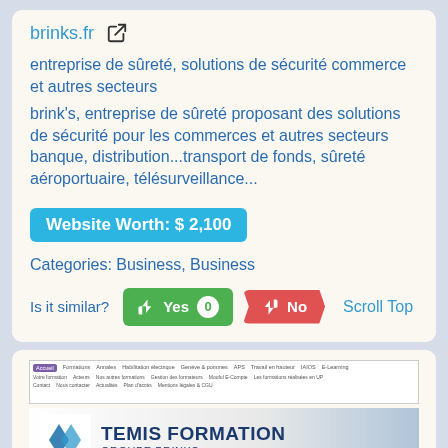brinks.fr
entreprise de sûreté, solutions de sécurité commerce et autres secteurs
brink's, entreprise de sûreté proposant des solutions de sécurité pour les commerces et autres secteurs banque, distribution...transport de fonds, sûreté aéroportuaire, télésurveillance...
Website Worth: $ 2,100
Categories: Business, Business
Is it similar? Yes 0 No Scroll Top
[Figure (screenshot): Screenshot of Temis Formation Groupe Brinks website with navigation bar and banner logo]